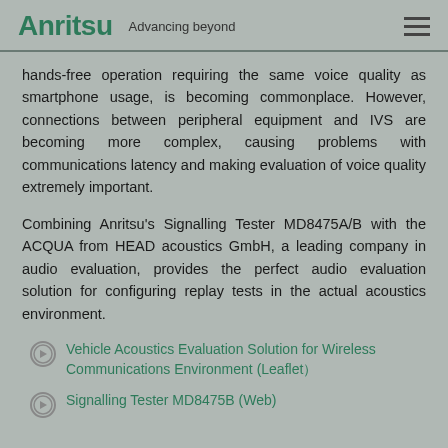Anritsu — Advancing beyond
hands-free operation requiring the same voice quality as smartphone usage, is becoming commonplace. However, connections between peripheral equipment and IVS are becoming more complex, causing problems with communications latency and making evaluation of voice quality extremely important.
Combining Anritsu's Signalling Tester MD8475A/B with the ACQUA from HEAD acoustics GmbH, a leading company in audio evaluation, provides the perfect audio evaluation solution for configuring replay tests in the actual acoustics environment.
Vehicle Acoustics Evaluation Solution for Wireless Communications Environment (Leaflet）
Signalling Tester MD8475B (Web)